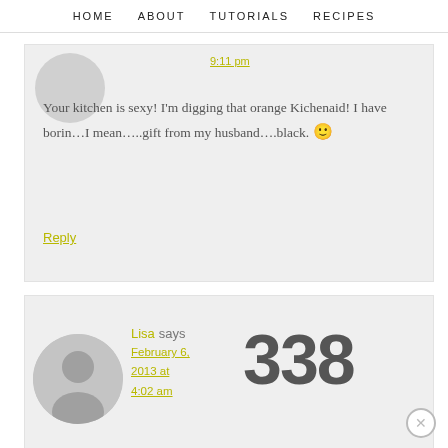HOME   ABOUT   TUTORIALS   RECIPES
9:11 pm
Your kitchen is sexy! I'm digging that orange Kichenaid! I have borin…I mean…..gift from my husband….black. 🙂
Reply
Lisa says February 6, 2013 at 4:02 am 338
OMG! I love that new